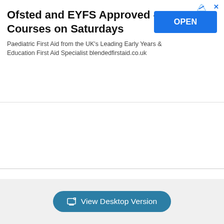[Figure (screenshot): Advertisement banner for Ofsted and EYFS Approved courses with OPEN button]
× (close button overlay)
About  Advertisement  Team  Privacy Policy  Contact
[Figure (screenshot): View Desktop Version button in gray footer area]